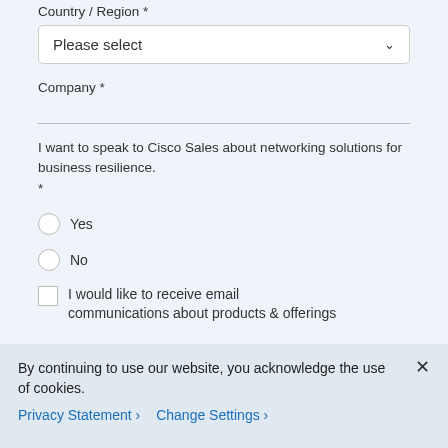Country / Region *
Please select
Company *
I want to speak to Cisco Sales about networking solutions for business resilience. *
Yes
No
I would like to receive email communications about products & offerings
By continuing to use our website, you acknowledge the use of cookies.
Privacy Statement >
Change Settings >